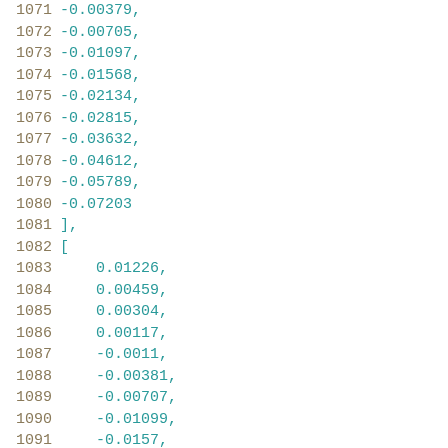1071   -0.00379,
1072   -0.00705,
1073   -0.01097,
1074   -0.01568,
1075   -0.02134,
1076   -0.02815,
1077   -0.03632,
1078   -0.04612,
1079   -0.05789,
1080   -0.07203
1081   ],
1082   [
1083       0.01226,
1084       0.00459,
1085       0.00304,
1086       0.00117,
1087       -0.0011,
1088       -0.00381,
1089       -0.00707,
1090       -0.01099,
1091       -0.0157,
1092       -0.02136,